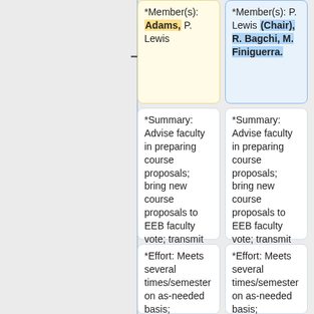*Member(s): Adams, P. Lewis
*Member(s): P. Lewis (Chair), R. Bagchi, M. Finiguerra.
*Summary: Advise faculty in preparing course proposals; bring new course proposals to EEB faculty vote; transmit course proposals to CLAS CCC; submit proposals to the Senate and GEOC
*Summary: Advise faculty in preparing course proposals; bring new course proposals to EEB faculty vote; transmit course proposals to CLAS CCC; submit proposals to the Senate and GEOC
*Effort: Meets several times/semester on as-needed basis;
*Effort: Meets several times/semester on as-needed basis;